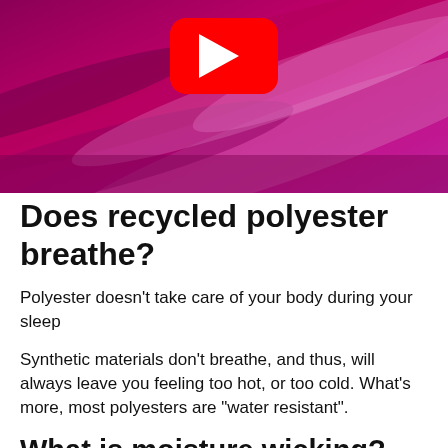[Figure (screenshot): YouTube video thumbnail showing close-up of purple/magenta fleece fabric with a red YouTube play button icon centered at the top]
Does recycled polyester breathe?
Polyester doesn't take care of your body during your sleep
Synthetic materials don't breathe, and thus, will always leave you feeling too hot, or too cold. What's more, most polyesters are “water resistant”.
What is moisture wicking?